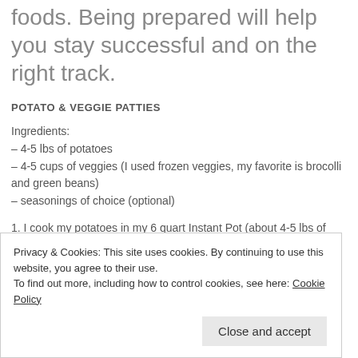foods. Being prepared will help you stay successful and on the right track.
POTATO & VEGGIE PATTIES
Ingredients:
– 4-5 lbs of potatoes
– 4-5 cups of veggies (I used frozen veggies, my favorite is brocolli and green beans)
– seasonings of choice (optional)
1. I cook my potatoes in my 6 quart Instant Pot (about 4-5 lbs of
Privacy & Cookies: This site uses cookies. By continuing to use this website, you agree to their use. To find out more, including how to control cookies, see here: Cookie Policy